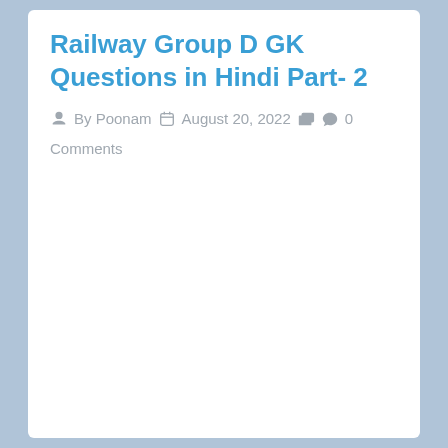Railway Group D GK Questions in Hindi Part- 2
By Poonam   August 20, 2022   0 Comments